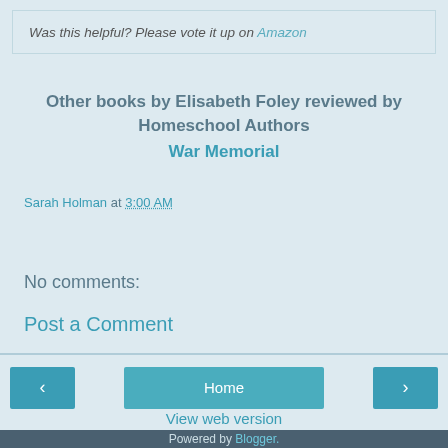Was this helpful? Please vote it up on Amazon
Other books by Elisabeth Foley reviewed by Homeschool Authors
War Memorial
Sarah Holman at 3:00 AM
Share
No comments:
Post a Comment
Home
View web version
Powered by Blogger.